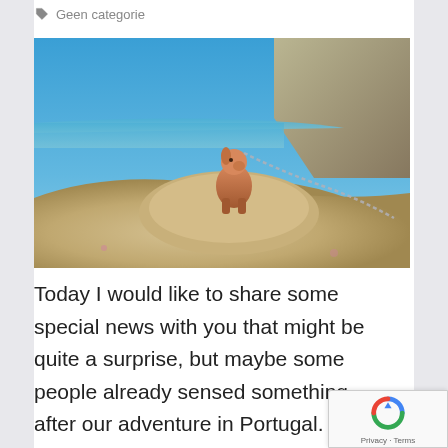Geen categorie
[Figure (photo): A small brown dog figurine wearing a silver chain necklace, sitting on a rock at a beach with blue sky, ocean, and rocky cliffs in the background. Photo taken outdoors in Portugal.]
Today I would like to share some special news with you that might be quite a surprise, but maybe some people already sensed something after our adventure in Portugal.